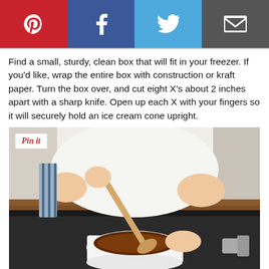Social sharing buttons: Pinterest, Facebook, Twitter, Email
Find a small, sturdy, clean box that will fit in your freezer. If you'd like, wrap the entire box with construction or kraft paper. Turn the box over, and cut eight X's about 2 inches apart with a sharp knife. Open up each X with your fingers so it will securely hold an ice cream cone upright.
[Figure (photo): Person stirring dark chocolate sauce in a white pot on a stovetop, holding a wooden spoon with both hands, wearing a white apron, with a blue and white striped cloth draped over one hand.]